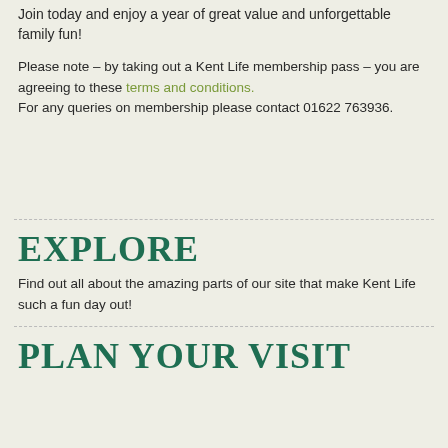Join today and enjoy a year of great value and unforgettable family fun!
Please note – by taking out a Kent Life membership pass – you are agreeing to these terms and conditions.
For any queries on membership please contact 01622 763936.
EXPLORE
Find out all about the amazing parts of our site that make Kent Life such a fun day out!
PLAN YOUR VISIT